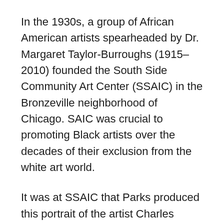In the 1930s, a group of African American artists spearheaded by Dr. Margaret Taylor-Burroughs (1915–2010) founded the South Side Community Art Center (SSAIC) in the Bronzeville neighborhood of Chicago. SAIC was crucial to promoting Black artists over the decades of their exclusion from the white art world.
It was at SSAIC that Parks produced this portrait of the artist Charles White (1918–1979), a co-founder of the center, whose own career was revived by a 2018 retrospective organized by the Art Institute of Chicago and the Museum of Modern Art, New York. Parks also captured other members of the SSAIC community, including Taylor-Burroughs.
Paul Robeson, Baritone, Washington, D.C., 1942